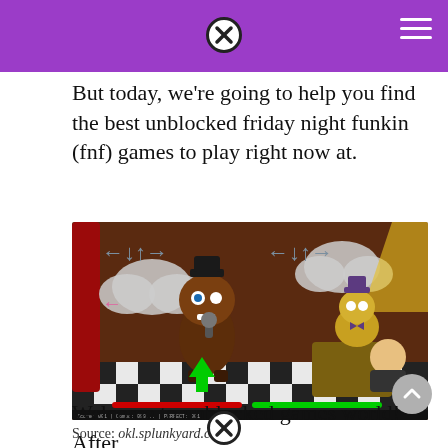But today, we’re going to help you find the best unblocked friday night funkin (fnf) games to play right now at.
[Figure (screenshot): Screenshot of a Friday Night Funkin fan game featuring Freddy Fazbear from FNAF as the opponent, with arrow keys shown at top, a green up arrow in the play field, red and green health bars at the bottom, and characters from both games visible.]
Source: okl.splunkyard.com
Welcome to unblocked games world! After